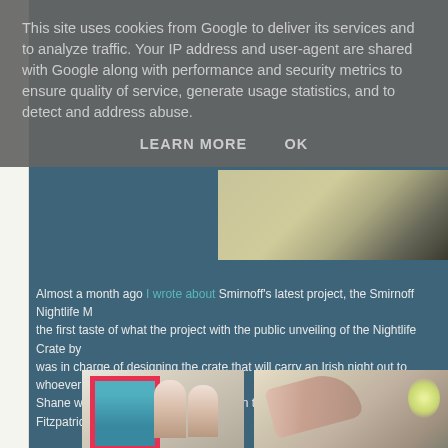This site uses cookies from Google to deliver its services and to analyze traffic. Your IP address and user-agent are shared with Google along with performance and security metrics to ensure quality of service, generate usage statistics, and to detect and address abuse.
LEARN MORE    OK
[Figure (photo): Partial view of a surface (appears to be a book or object on a background) visible in the upper right of the page behind the cookie banner]
Almost a month ago I wrote about Smirnoff's latest project, the Smirnoff Nightlife [text continues off page] the first taste of what the project with the public unveiling of the Nightlife Crate by [text continues off page] was in charge of designing the crate that will carry an Irish night out to whoever ou[text continues off page] Shane was on hand at Stephen's Green today with models Karen Fitzpatrick and Sa[text continues off page]
[Figure (photo): Two women posing with a teal/turquoise artwork held in a pink/red frame]
[Figure (photo): A man pointing at something, with a ferris wheel visible in the background]